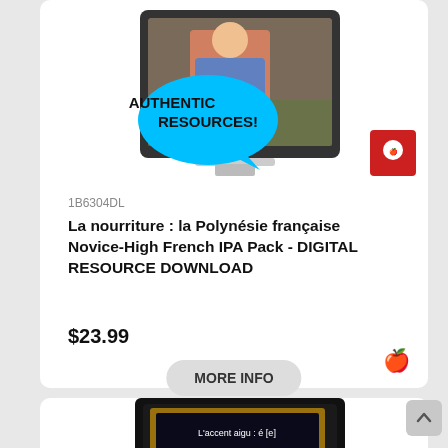[Figure (screenshot): Product listing card showing a monitor with cooking show image and 'AUTHENTIC RESOURCES!' speech bubble, plus a red apple badge logo]
1B6304DL
La nourriture : la Polynésie française Novice-High French IPA Pack - DIGITAL RESOURCE DOWNLOAD
$23.99
MORE INFO
[Figure (screenshot): Second product card showing a tablet/iPad with French language learning content on dark background with text 'L'accent aigu : é [e]']